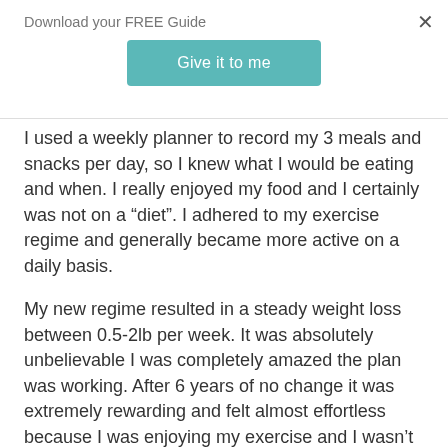Download your FREE Guide
Give it to me
I used a weekly planner to record my 3 meals and snacks per day, so I knew what I would be eating and when. I really enjoyed my food and I certainly was not on a “diet”. I adhered to my exercise regime and generally became more active on a daily basis.
My new regime resulted in a steady weight loss between 0.5-2lb per week. It was absolutely unbelievable I was completely amazed the plan was working. After 6 years of no change it was extremely rewarding and felt almost effortless because I was enjoying my exercise and I wasn’t on a diet.